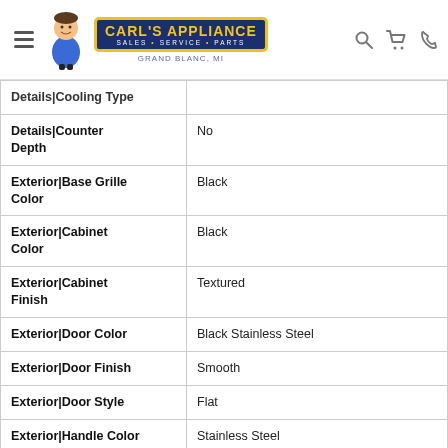Carl's Appliance — Sales • Service • Parts — Grand Blanc, MI
| Attribute | Value |
| --- | --- |
| Details|Cooling Type |  |
| Details|Counter Depth | No |
| Exterior|Base Grille Color | Black |
| Exterior|Cabinet Color | Black |
| Exterior|Cabinet Finish | Textured |
| Exterior|Door Color | Black Stainless Steel |
| Exterior|Door Finish | Smooth |
| Exterior|Door Style | Flat |
| Exterior|Handle Color | Stainless Steel |
| Exterior|Handle Material | Metal |